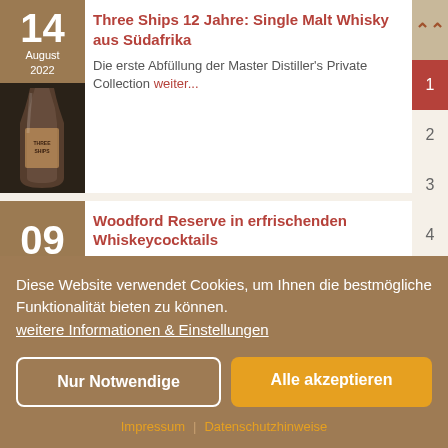Three Ships 12 Jahre: Single Malt Whisky aus Südafrika
Die erste Abfüllung der Master Distiller's Private Collection weiter...
Woodford Reserve in erfrischenden Whiskeycocktails
Diese Website verwendet Cookies, um Ihnen die bestmögliche Funktionalität bieten zu können. weitere Informationen & Einstellungen
Nur Notwendige
Alle akzeptieren
Impressum | Datenschutzhinweise